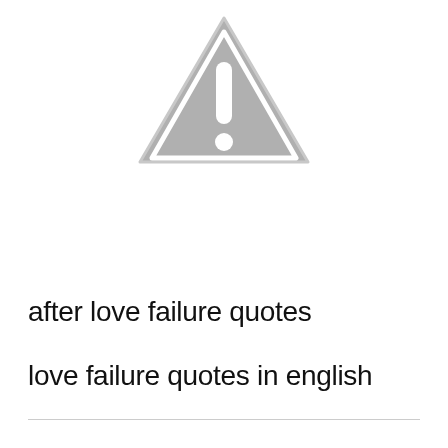[Figure (illustration): Gray warning triangle icon with exclamation mark, centered near the top of the page]
after love failure quotes
love failure quotes in english